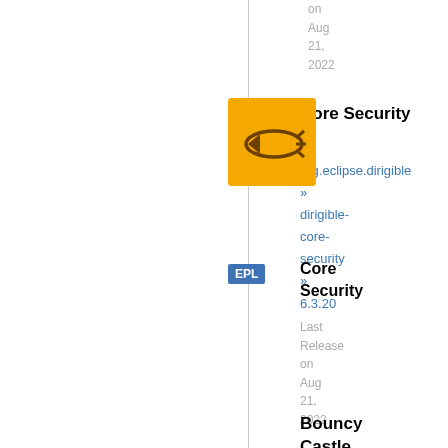on Aug 21, 2022
[Figure (logo): Core Security yellow logo with fish/arrow icon, showing '13 usages' tooltip]
Core Security
org.eclipse.dirigible » dirigible-core-security » 6.3.20
EPL
Core Security
Last Release on Aug 21, 2022
Bouncy Castle